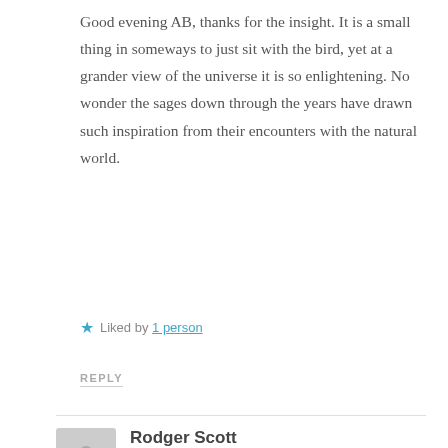Good evening AB, thanks for the insight. It is a small thing in someways to just sit with the bird, yet at a grander view of the universe it is so enlightening. No wonder the sages down through the years have drawn such inspiration from their encounters with the natural world.
★ Liked by 1 person
REPLY
Rodger Scott
MAY 12, 2019 AT 12:55 AM
A beautiful image and great bit of philosophy, which I agree with.